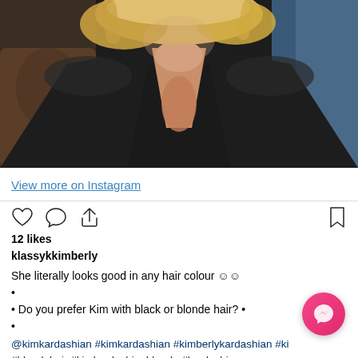[Figure (photo): Photo of a blonde woman wearing a deep V-neck dark blazer/jacket, with blonde hair, against a brown and blue background. Instagram post image.]
View more on Instagram
[Figure (infographic): Instagram action icons: heart (like), comment bubble, share arrow on left; bookmark icon on right]
12 likes
klassykkimberly
She literally looks good in any hair colour 😊😊
•
• Do you prefer Kim with black or blonde hair? •
•
@kimkardashian #kimkardashian #kimberlykardashian #k #blondehair #kimkardashianblonde #kardashian #keepingupwiththekardashians #style #klassy